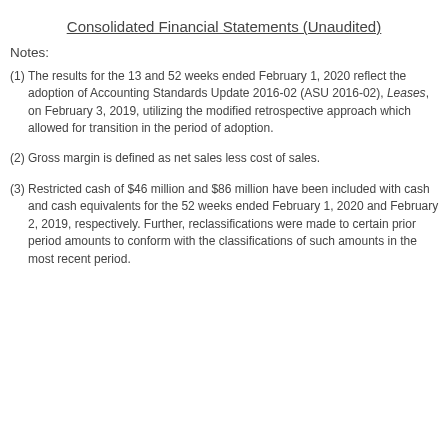Consolidated Financial Statements (Unaudited)
Notes:
(1)The results for the 13 and 52 weeks ended February 1, 2020 reflect the adoption of Accounting Standards Update 2016-02 (ASU 2016-02), Leases, on February 3, 2019, utilizing the modified retrospective approach which allowed for transition in the period of adoption.
(2)Gross margin is defined as net sales less cost of sales.
(3)Restricted cash of $46 million and $86 million have been included with cash and cash equivalents for the 52 weeks ended February 1, 2020 and February 2, 2019, respectively. Further, reclassifications were made to certain prior period amounts to conform with the classifications of such amounts in the most recent period.